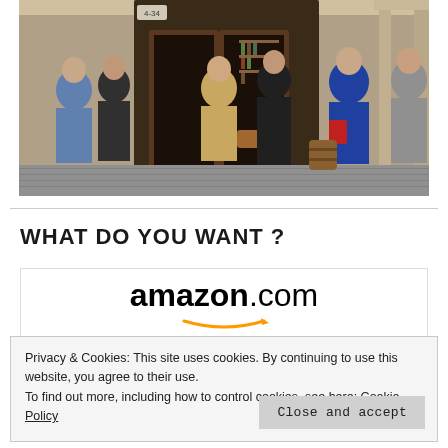[Figure (photo): Street scene showing people walking outside a shop/wine bar storefront with a covered arcade. People of various ages are visible, some entering the shop, others walking past. The building has a wooden door and shelves of bottles visible inside.]
WHAT DO YOU WANT ?
[Figure (logo): Amazon.com logo with the characteristic orange arrow smile beneath the text 'amazon' in bold followed by '.com' in regular weight.]
Privacy & Cookies: This site uses cookies. By continuing to use this website, you agree to their use.
To find out more, including how to control cookies, see here: Cookie Policy
Close and accept